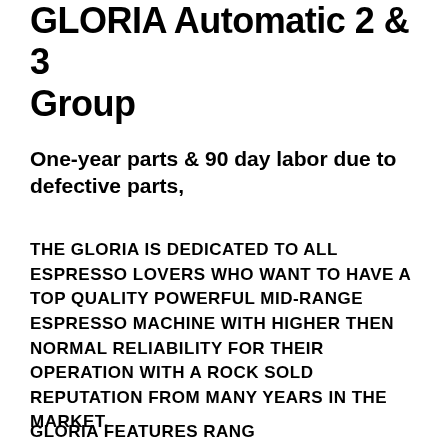GLORIA Automatic 2 & 3 Group
One-year parts & 90 day labor due to defective parts,
THE GLORIA IS DEDICATED TO ALL ESPRESSO LOVERS WHO WANT TO HAVE A TOP QUALITY POWERFUL MID-RANGE ESPRESSO MACHINE WITH HIGHER THEN NORMAL RELIABILITY FOR THEIR OPERATION WITH A ROCK SOLD REPUTATION FROM MANY YEARS IN THE MARKET.
GLORIA FEATURES RANGE